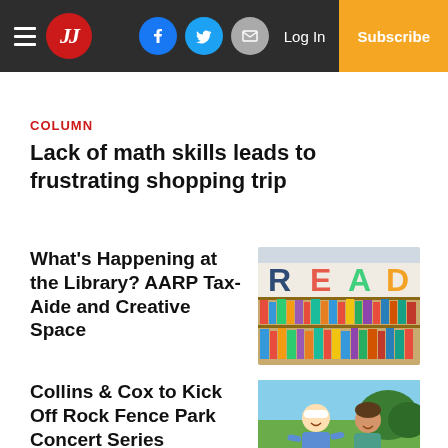JJ | Log In | Subscribe
COLUMN
Lack of math skills leads to frustrating shopping trip
What's Happening at the Library? AARP Tax-Aide and Creative Space
[Figure (photo): Library shelves with colorful READ letters sign above]
Collins & Cox to Kick Off Rock Fence Park Concert Series
[Figure (photo): Two men posing outdoors, one wearing a white cap]